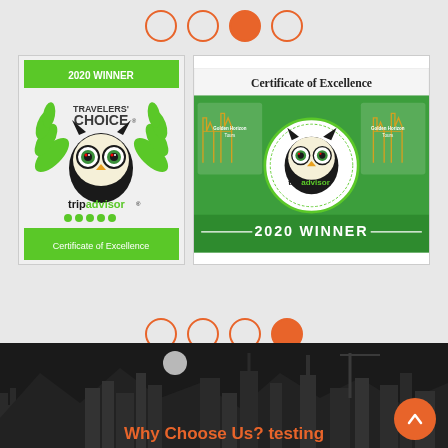[Figure (other): Slideshow dot indicators at top, 4 dots with 3rd highlighted in orange]
[Figure (other): TripAdvisor 2020 Travelers Choice Certificate of Excellence award badge (left) and TripAdvisor Certificate of Excellence 2020 Winner for Golden Horizon Tours (right)]
[Figure (other): Slideshow dot indicators at bottom, 4 dots with 4th highlighted in orange]
[Figure (other): Hollywood cityscape silhouette banner in dark/black at bottom of page]
Why Choose Us? testing